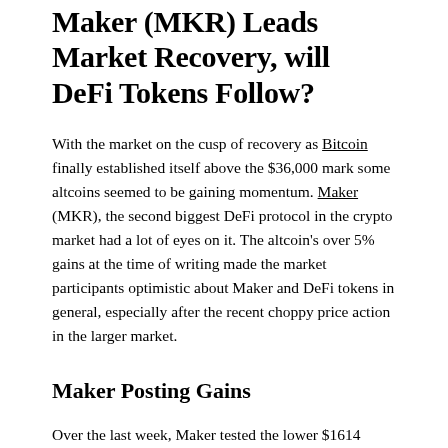Maker (MKR) Leads Market Recovery, will DeFi Tokens Follow?
With the market on the cusp of recovery as Bitcoin finally established itself above the $36,000 mark some altcoins seemed to be gaining momentum. Maker (MKR), the second biggest DeFi protocol in the crypto market had a lot of eyes on it. The altcoin's over 5% gains at the time of writing made the market participants optimistic about Maker and DeFi tokens in general, especially after the recent choppy price action in the larger market.
Maker Posting Gains
Over the last week, Maker tested the lower $1614